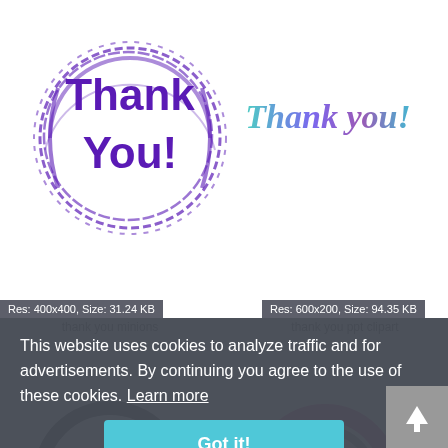[Figure (illustration): Purple circular stamp graphic with text 'Thank You!' in bold purple letters inside a circular scribble border]
[Figure (illustration): Colorful gradient script text reading 'Thank you!' in teal/purple gradient handwritten style]
Res: 400x400, Size: 31.24 KB
Res: 600x200, Size: 94.35 KB
thank you minions
thank you ppt clipart
This website uses cookies to analyze traffic and for advertisements. By continuing you agree to the use of these cookies. Learn more
Got it!
[Figure (illustration): Partial bottom-left image showing black and white circular graphic with text (partially visible)]
[Figure (illustration): Partial bottom-right image showing magenta/pink and dark circular ring graphic]